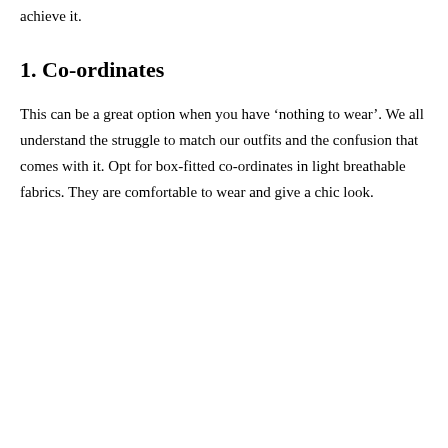achieve it.
1. Co-ordinates
This can be a great option when you have ‘nothing to wear’. We all understand the struggle to match our outfits and the confusion that comes with it. Opt for box-fitted co-ordinates in light breathable fabrics. They are comfortable to wear and give a chic look.